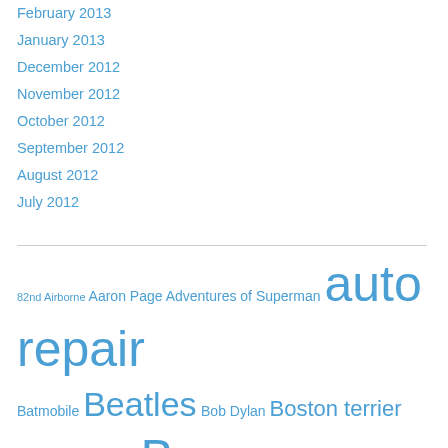February 2013
January 2013
December 2012
November 2012
October 2012
September 2012
August 2012
July 2012
82nd Airborne  Aaron Page  Adventures of Superman  auto repair  Batmobile  Beatles  Bob Dylan  Boston terrier  Buddy Holly  Bug  convertible  Callahan  Comic Books  David Martin DC  DC comics  Dora the Explorer  Fernandina Beach  Florida  fountain pens  Freshly Pressed honor  gas leak  George Harrison  George Martin  George Reeves  good recipes  guitar  Hanover  Hit…